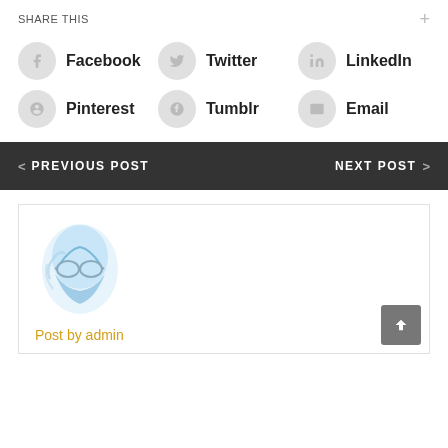SHARE THIS
Facebook
Twitter
LinkedIn
Pinterest
Tumblr
Email
< PREVIOUS POST   NEXT POST >
[Figure (illustration): Author avatar - stylized blue face illustration with glasses]
Post by admin